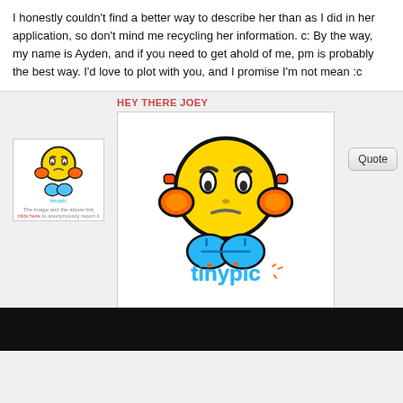I honestly couldn't find a better way to describe her than as I did in her application, so don't mind me recycling her information. c: By the way, my name is Ayden, and if you need to get ahold of me, pm is probably the best way. I'd love to plot with you, and I promise I'm not mean :c
HEY THERE JOEY
[Figure (illustration): A sad yellow emoji/emoticon character with worried eyebrows, holding its cheeks with orange hands, wearing blue overalls, with the 'tinypic' logo below it. A smaller version of the same image appears as a thumbnail on the left.]